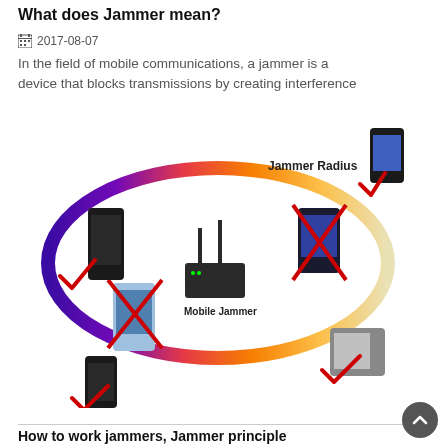What does Jammer mean?
2017-08-07
In the field of mobile communications, a jammer is a device that blocks transmissions by creating interference
[Figure (infographic): Diagram showing a mobile jammer device at the center of an elliptical rainbow-colored ring labeled 'Jammer Radius'. Inside the ring, mobile phones are shown with red X marks (blocked). Outside the ring, phones show red check marks (active/unblocked). The central device is labeled 'Mobile Jammer'.]
How to work jammers, Jammer principle